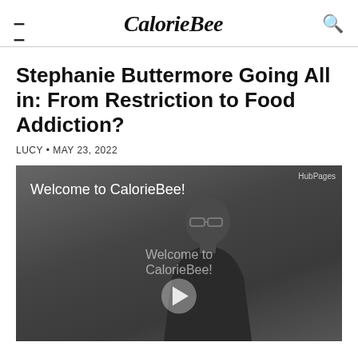CalorieBee
Stephanie Buttermore Going All in: From Restriction to Food Addiction?
LUCY • MAY 23, 2022
[Figure (screenshot): Video player showing a man in a dark jacket, with text 'Welcome to CalorieBee!' overlaid. A play button is centered on the video. HubPages watermark in top right corner.]